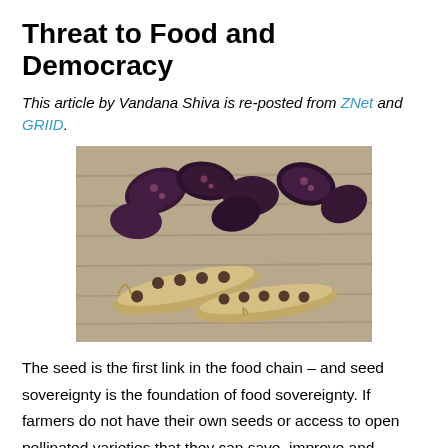Threat to Food and Democracy
This article by Vandana Shiva is re-posted from ZNet and GRIID.
[Figure (photo): Close-up photo of dried bean pods and dark purple/black beans scattered on a wooden surface. The pods are open revealing small round seeds inside.]
The seed is the first link in the food chain – and seed sovereignty is the foundation of food sovereignty. If farmers do not have their own seeds or access to open pollinated varieties that they can save, improve and